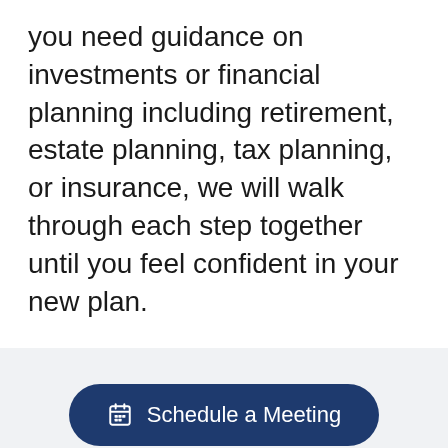you need guidance on investments or financial planning including retirement, estate planning, tax planning, or insurance, we will walk through each step together until you feel confident in your new plan.
[Figure (other): Dark navy blue rounded pill-shaped button with calendar icon and text 'Schedule a Meeting']